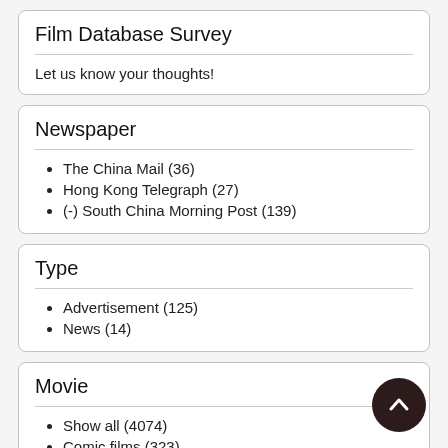Film Database Survey
Let us know your thoughts!
Newspaper
The China Mail (36)
Hong Kong Telegraph (27)
(-) South China Morning Post (139)
Type
Advertisement (125)
News (14)
Movie
Show all (4074)
Comic films (323)
Comics (268)
British Gazette (196)